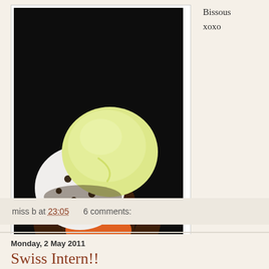[Figure (photo): A hand holding a cup of ice cream with two scoops — one yellow/vanilla and one cookies and cream (white with chocolate chips). Dark background.]
Bissous
xoxo
miss b at 23:05    6 comments:
Monday, 2 May 2011
Swiss Intern!!
Heyy blogsville,